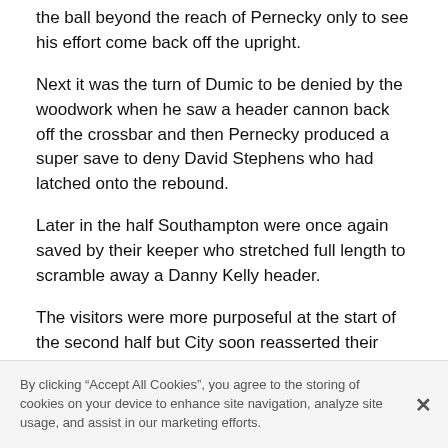the ball beyond the reach of Pernecky only to see his effort come back off the upright.
Next it was the turn of Dumic to be denied by the woodwork when he saw a header cannon back off the crossbar and then Pernecky produced a super save to deny David Stephens who had latched onto the rebound.
Later in the half Southampton were once again saved by their keeper who stretched full length to scramble away a Danny Kelly header.
The visitors were more purposeful at the start of the second half but City soon reasserted their superiority with Daly and Smith both going close once again.
By clicking “Accept All Cookies”, you agree to the storing of cookies on your device to enhance site navigation, analyze site usage, and assist in our marketing efforts.